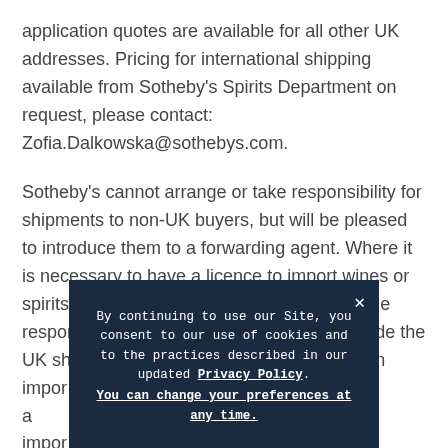application quotes are available for all other UK addresses. Pricing for international shipping available from Sotheby's Spirits Department on request, please contact: Zofia.Dalkowska@sothebys.com.
Sotheby's cannot arrange or take responsibility for shipments to non-UK buyers, but will be pleased to introduce them to a forwarding agent. Where it is necessary to have a licence to import wines or spirits, procural of the licence shall be the sole responsibility of the buyer. Buyers from outside the UK should note t[...] upon impor[...] their own a[...] n impor[...] cost
By continuing to use our Site, you consent to our use of cookies and to the practices described in our updated Privacy Policy. You can change your preferences at any time.